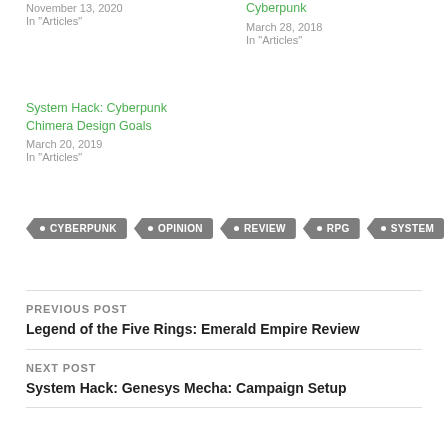November 13, 2020
In "Articles"
Cyberpunk
March 28, 2018
In "Articles"
System Hack: Cyberpunk Chimera Design Goals
March 20, 2019
In "Articles"
CYBERPUNK
OPINION
REVIEW
RPG
SYSTEM
PREVIOUS POST
Legend of the Five Rings: Emerald Empire Review
NEXT POST
System Hack: Genesys Mecha: Campaign Setup